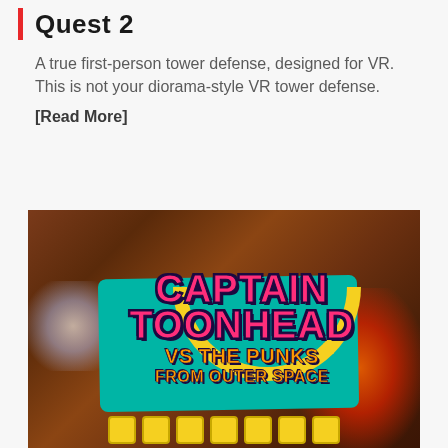Quest 2
A true first-person tower defense, designed for VR.
This is not your diorama-style VR tower defense.
[Read More]
[Figure (photo): Promotional game artwork for 'Captain Toonhead vs The Punks From Outer Space' featuring colorful cartoon characters, a large game logo in pink and orange text on a teal background, a yellow arc, fire/lava effects on the right, an explosion on the left, and yellow dice characters along the bottom.]